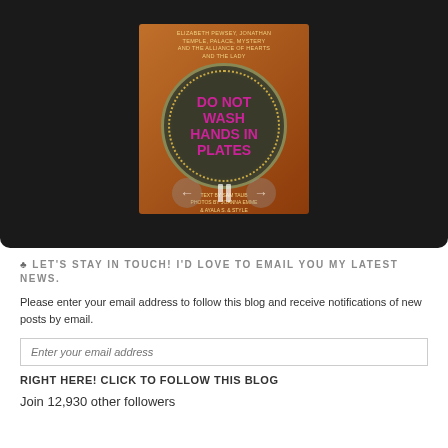[Figure (photo): Book cover for 'Do Not Wash Hands in Plates' displayed inside a dark device frame with navigation arrows. The book cover shows a pan filled with sunflower seeds with the title in pink/magenta bold text.]
♣ LET'S STAY IN TOUCH! I'D LOVE TO EMAIL YOU MY LATEST NEWS.
Please enter your email address to follow this blog and receive notifications of new posts by email.
Enter your email address
RIGHT HERE! CLICK TO FOLLOW THIS BLOG
Join 12,930 other followers